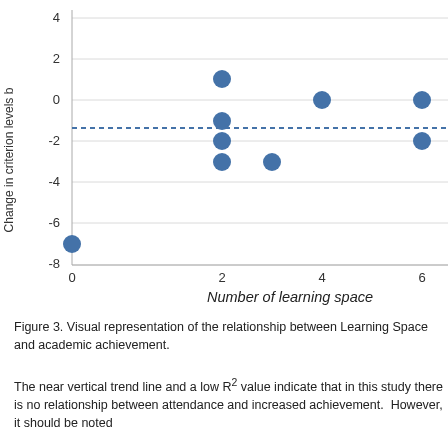[Figure (continuous-plot): Scatter plot showing change in criterion levels (y-axis, range -8 to 4) vs Number of learning spaces (x-axis, 0 to 6+). Approximately 9 data points shown as blue circles. A horizontal dotted trend line runs near y=-1.5. Points include: (0,-7), (2,1), (2,-1), (2,-2), (2,-3), (3,-3), (4,0), (6,0), (6,-2).]
Figure 3. Visual representation of the relationship between Learning Space and academic achievement.
The near vertical trend line and a low R² value indicate that in this study there is no relationship between attendance and increased achievement.  However, it should be noted